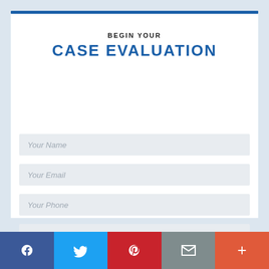BEGIN YOUR
CASE EVALUATION
[Figure (screenshot): Web form with four input fields: Your Name, Your Email, Your Phone, Your Message]
[Figure (infographic): Social media share bar with Facebook, Twitter, Pinterest, Email, and Plus buttons]